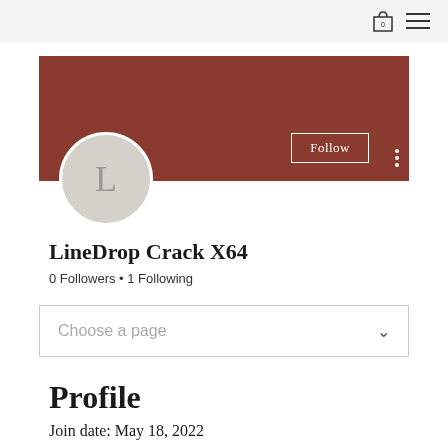0 (cart icon) menu
[Figure (illustration): User profile banner with dark red/brown background, a Follow button with white border, a three-dot vertical menu, and a circular avatar with letter L]
LineDrop Crack X64
0 Followers • 1 Following
Choose a page
Profile
Join date: May 18, 2022